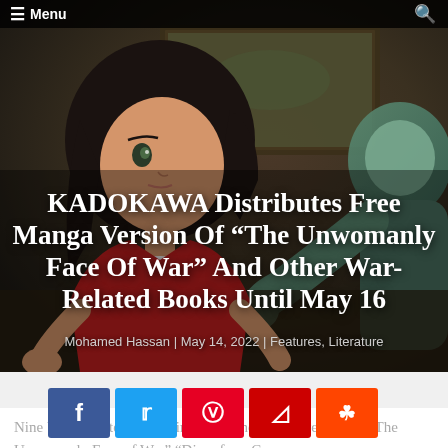≡ Menu
[Figure (illustration): Anime/manga-style illustration of a young woman with dark hair in a red outfit, leaning over what appears to be a surface, with a painting visible in the background. Another figure in teal/green is partially visible on the right. The background has dark, muted tones suggesting a wartime or dramatic setting.]
KADOKAWA Distributes Free Manga Version Of “The Unwomanly Face Of War” And Other War-Related Books Until May 16
Mohamed Hassan | May 14, 2022 | Features, Literature
[Figure (infographic): Social media sharing buttons row: Facebook (blue), Twitter (light blue), Pinterest (red), Flipboard (dark red), Reddit (orange-red)]
Nine books related to war, including the Manga version of “The Unwomanly Face of War” “Diary for a Cre…